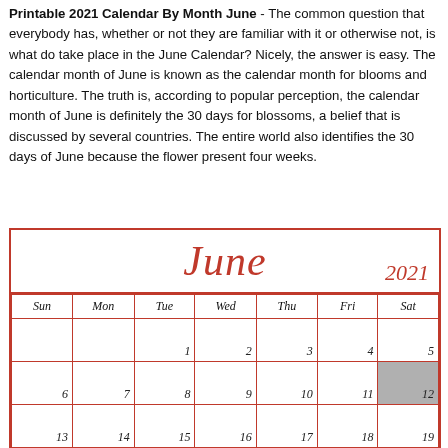Printable 2021 Calendar By Month June - The common question that everybody has, whether or not they are familiar with it or otherwise not, is what do take place in the June Calendar? Nicely, the answer is easy. The calendar month of June is known as the calendar month for blooms and horticulture. The truth is, according to popular perception, the calendar month of June is definitely the 30 days for blossoms, a belief that is discussed by several countries. The entire world also identifies the 30 days of June because the flower present four weeks.
| Sun | Mon | Tue | Wed | Thu | Fri | Sat |
| --- | --- | --- | --- | --- | --- | --- |
|  |  | 1 | 2 | 3 | 4 | 5 |
| 6 | 7 | 8 | 9 | 10 | 11 | 12 |
| 13 | 14 | 15 | 16 | 17 | 18 | 19 |